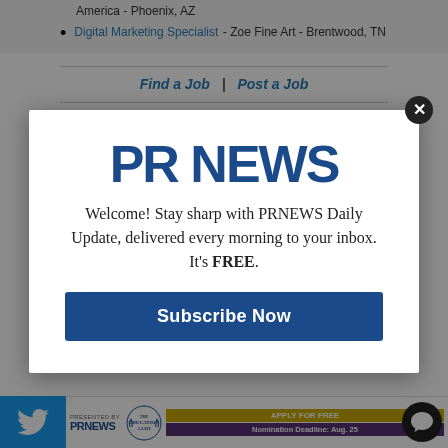Digital Marketing Specialist - Zoe Fine Art - Brentwood, TN
Find a Job  |  Post a Job
[Figure (screenshot): PR NEWS award banner with laurel wreath logo, 'APPLY FOR FREE' yellow bar and 'Nomination Deadline: August 25' purple bar]
[Figure (screenshot): Bottom strip with Twitter bird icon (blue), PR NEWS Education A-List award ad, 'APPLY FOR FREE' and 'Nomination Deadline: Aug. 25' banners, and chat bubble icon]
[Figure (screenshot): Modal popup with PR NEWS logo, welcome message about PRNEWS Daily Update newsletter, and Subscribe Now button with close X button]
Welcome! Stay sharp with PRNEWS Daily Update, delivered every morning to your inbox. It's FREE.